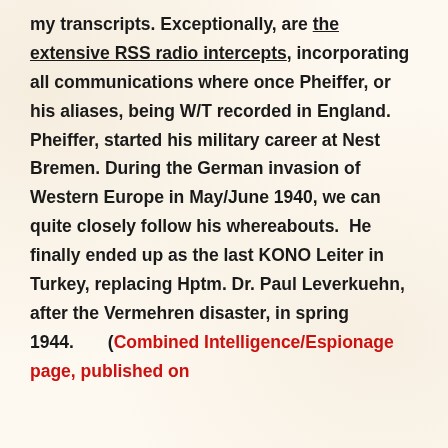my transcripts. Exceptionally, are the extensive RSS radio intercepts, incorporating all communications where once Pheiffer, or his aliases, being W/T recorded in England.  Pheiffer, started his military career at Nest Bremen. During the German invasion of Western Europe in May/June 1940, we can quite closely follow his whereabouts.  He finally ended up as the last KONO Leiter in Turkey, replacing Hptm. Dr. Paul Leverkuehn, after the Vermehren disaster, in spring 1944.      (Combined Intelligence/Espionage page, published on